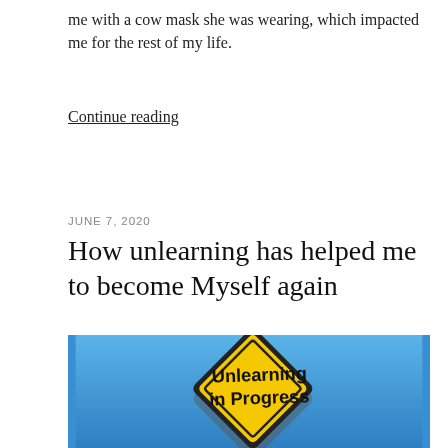me with a cow mask she was wearing, which impacted me for the rest of my life.
Continue reading
JUNE 7, 2020
How unlearning has helped me to become Myself again
[Figure (photo): Yellow diamond-shaped road sign on a blue sky background reading 'Unlearning in Progress' in bold black text]